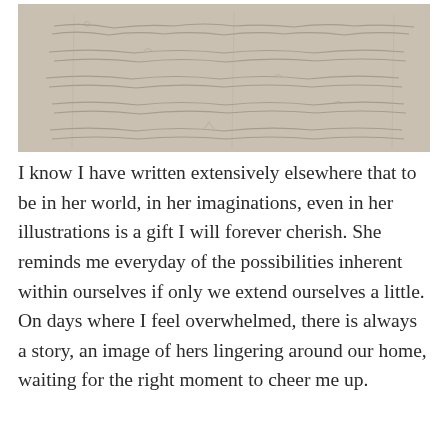[Figure (photo): A photograph of a child's handwriting or drawing on white paper, showing faint pencil marks that are difficult to read]
I know I have written extensively elsewhere that to be in her world, in her imaginations, even in her illustrations is a gift I will forever cherish. She reminds me everyday of the possibilities inherent within ourselves if only we extend ourselves a little. On days where I feel overwhelmed, there is always a story, an image of hers lingering around our home, waiting for the right moment to cheer me up.